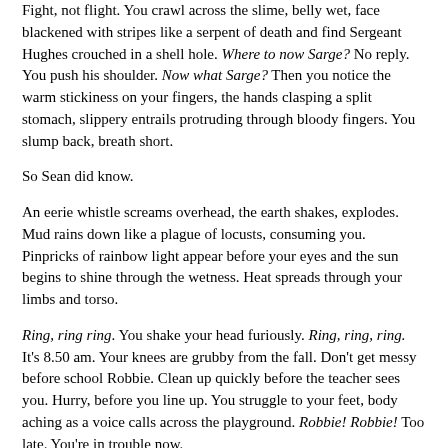Fight, not flight. You crawl across the slime, belly wet, face blackened with stripes like a serpent of death and find Sergeant Hughes crouched in a shell hole. Where to now Sarge? No reply. You push his shoulder. Now what Sarge? Then you notice the warm stickiness on your fingers, the hands clasping a split stomach, slippery entrails protruding through bloody fingers. You slump back, breath short.
So Sean did know.
An eerie whistle screams overhead, the earth shakes, explodes. Mud rains down like a plague of locusts, consuming you. Pinpricks of rainbow light appear before your eyes and the sun begins to shine through the wetness. Heat spreads through your limbs and torso.
Ring, ring ring. You shake your head furiously. Ring, ring, ring. It's 8.50 am. Your knees are grubby from the fall. Don't get messy before school Robbie. Clean up quickly before the teacher sees you. Hurry, before you line up. You struggle to your feet, body aching as a voice calls across the playground. Robbie! Robbie! Too late. You're in trouble now.